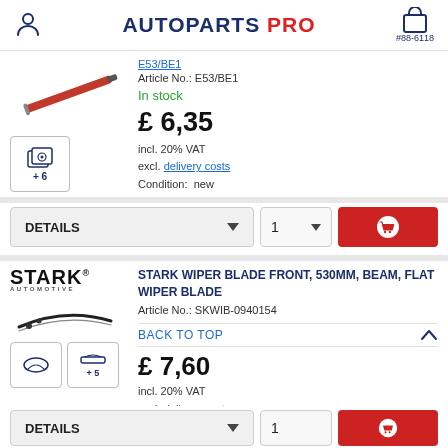AUTOPARTS PRO #88-6118
Article No.: E53/BE1
In stock
£ 6,35
incl. 20% VAT
excl. delivery costs
Condition:  new
DETAILS 1
[Figure (logo): STARK Automotive brand logo]
STARK WIPER BLADE FRONT, 530MM, BEAM, FLAT WIPER BLADE
Article No.: SKWIB-0940154
BACK TO TOP
£ 7,60
incl. 20% VAT
excl. delivery costs
Condition:  new
DETAILS 1